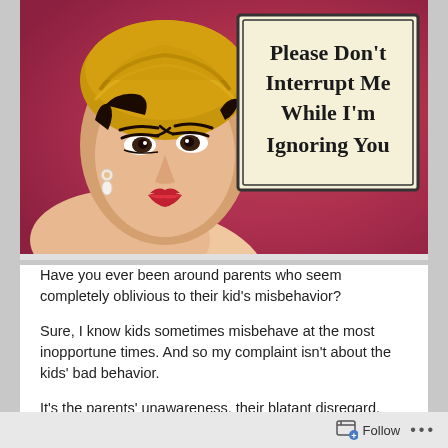[Figure (illustration): Vintage retro-style illustration of a glamorous woman with a gold headwrap, dramatic eye makeup, dangling pearl earrings, and red lips. She has an aloof expression. Next to her face is a framed sign with serif text reading: 'Please Don't Interrupt Me While I'm Ignoring You'. Background is reddish-orange.]
Have you ever been around parents who seem completely oblivious to their kid's misbehavior?
Sure, I know kids sometimes misbehave at the most inopportune times. And so my complaint isn't about the kids' bad behavior.
It's the parents' unawareness, their blatant disregard, their cool indifference for their children's misbehavior that
Follow ...